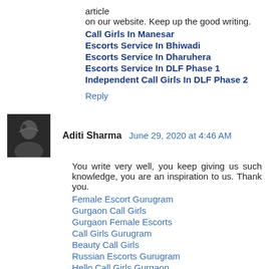article
on our website. Keep up the good writing.
Call Girls In Manesar
Escorts Service In Bhiwadi
Escorts Service In Dharuhera
Escorts Service In DLF Phase 1
Independent Call Girls In DLF Phase 2
Reply
Aditi Sharma  June 29, 2020 at 4:46 AM
You write very well, you keep giving us such knowledge, you are an inspiration to us. Thank you.
Female Escort Gurugram
Gurgaon Call Girls
Gurgaon Female Escorts
Call Girls Gurugram
Beauty Call Girls
Russian Escorts Gurugram
Hello Call Girls Gurgaon
Reply